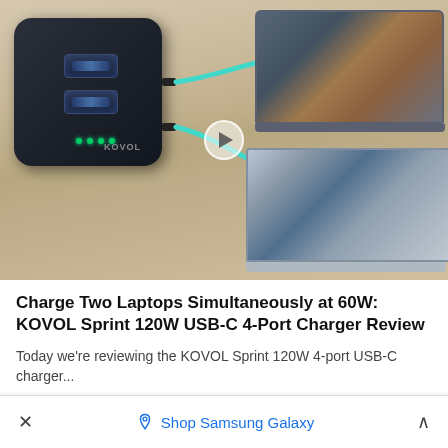[Figure (photo): A KOVOL Sprint 120W USB-C 4-port charger (black, cube-shaped) with two cyan USB-C cables connecting to two laptops simultaneously. A video play button overlay is visible in the center. The background is a beige/tan surface.]
Charge Two Laptops Simultaneously at 60W: KOVOL Sprint 120W USB-C 4-Port Charger Review
Today we're reviewing the KOVOL Sprint 120W 4-port USB-C charger...
× Shop Samsung Galaxy ^